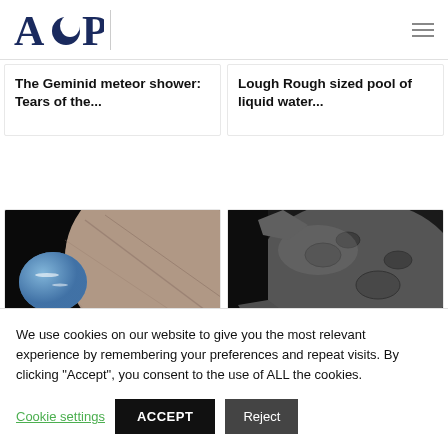AOP
The Geminid meteor shower: Tears of the...
Lough Rough sized pool of liquid water...
[Figure (photo): Neptune and large moon illustration with black space background]
Making Neptune's
[Figure (photo): Close-up of rocky asteroid surface in dark grey tones]
Armagh astronomers
We use cookies on our website to give you the most relevant experience by remembering your preferences and repeat visits. By clicking “Accept”, you consent to the use of ALL the cookies.
Cookie settings
ACCEPT
Reject